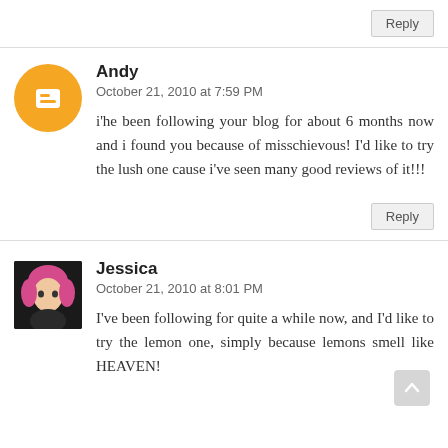Reply
Andy
October 21, 2010 at 7:59 PM
i'he been following your blog for about 6 months now and i found you because of misschievous! I'd like to try the lush one cause i've seen many good reviews of it!!!
Reply
Jessica
October 21, 2010 at 8:01 PM
I've been following for quite a while now, and I'd like to try the lemon one, simply because lemons smell like HEAVEN!